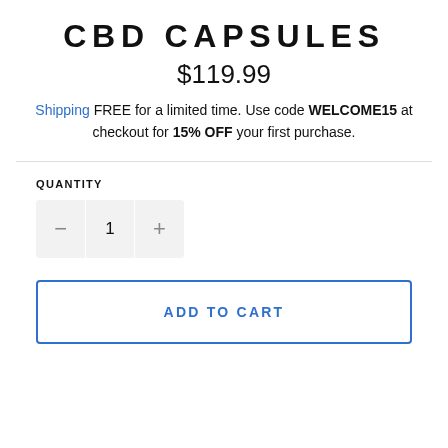CBD CAPSULES
$119.99
Shipping FREE for a limited time. Use code WELCOME15 at checkout for 15% OFF your first purchase.
QUANTITY
- 1 +
ADD TO CART